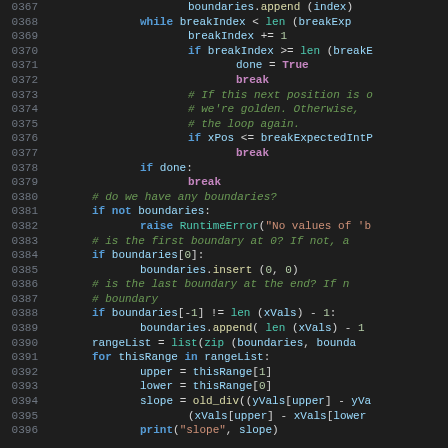[Figure (screenshot): Source code listing in a dark-themed code editor, lines 0367–0396, showing Python code with syntax highlighting: line numbers in gray on left, keywords in blue/bold, strings in orange/red, comments in green italic, variables in light blue, built-in functions in teal.]